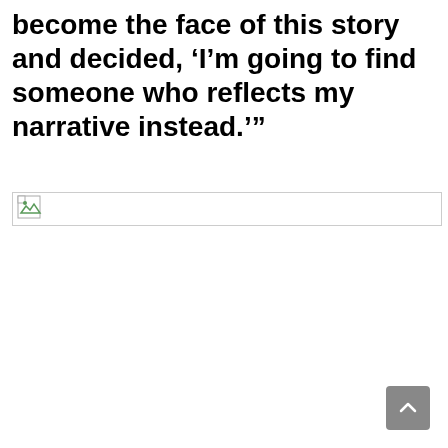become the face of this story and decided, ‘I’m going to find someone who reflects my narrative instead.’”
[Figure (other): Broken image placeholder with small icon, spanning full width]
[Figure (other): Scroll-to-top button, grey rounded square with upward arrow, bottom-right corner]